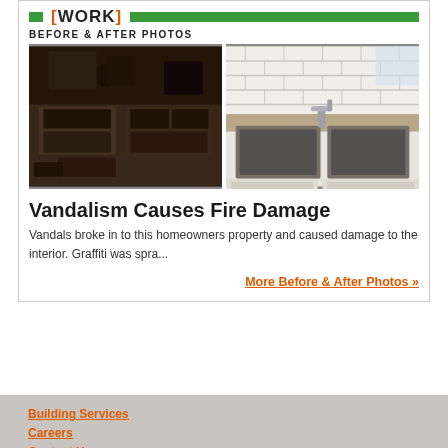[WORK] BEFORE & AFTER PHOTOS
[Figure (photo): Before photo: fire and vandalism damage to kitchen with burned stove and scattered items]
[Figure (photo): After photo: restored kitchen with clean granite countertop, white subway tile backsplash, and stainless steel sink]
Vandalism Causes Fire Damage
Vandals broke in to this homeowners property and caused damage to the interior. Graffiti was spra...
More Before & After Photos »
Building Services
Careers
Contact Us
Privacy Policy
Terms & Conditions